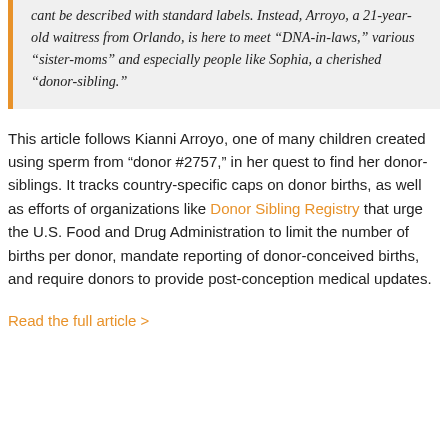cant be described with standard labels. Instead, Arroyo, a 21-year-old waitress from Orlando, is here to meet "DNA-in-laws," various "sister-moms" and especially people like Sophia, a cherished "donor-sibling."
This article follows Kianni Arroyo, one of many children created using sperm from “donor #2757,” in her quest to find her donor-siblings. It tracks country-specific caps on donor births, as well as efforts of organizations like Donor Sibling Registry that urge the U.S. Food and Drug Administration to limit the number of births per donor, mandate reporting of donor-conceived births, and require donors to provide post-conception medical updates.
Read the full article >